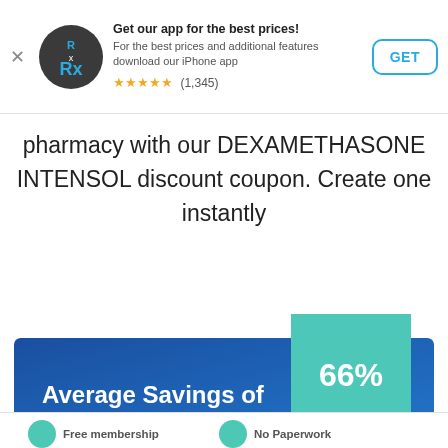[Figure (screenshot): App download banner with RxSaver logo icon, title 'Get our app for the best prices!', subtitle text, star rating (1,345 reviews), and GET button]
pharmacy with our DEXAMETHASONE INTENSOL discount coupon. Create one instantly
[Figure (infographic): Blue banner with text 'Average Savings of' and teal ribbon showing '66%']
[Figure (infographic): Partial bottom white section with teal circle icons and partially visible text 'Free membership' and 'No Paperwork']